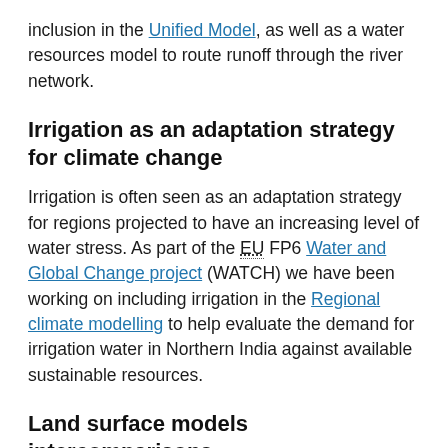inclusion in the Unified Model, as well as a water resources model to route runoff through the river network.
Irrigation as an adaptation strategy for climate change
Irrigation is often seen as an adaptation strategy for regions projected to have an increasing level of water stress. As part of the EU FP6 Water and Global Change project (WATCH) we have been working on including irrigation in the Regional climate modelling to help evaluate the demand for irrigation water in Northern India against available sustainable resources.
Land surface models intercomparisons